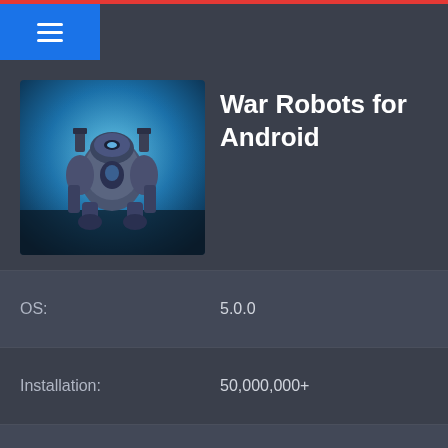War Robots for Android app page header with menu
[Figure (screenshot): War Robots game app icon showing a mechanical battle robot against a blue energy background]
War Robots for Android
| Label | Value |
| --- | --- |
| OS: | 5.0.0 |
| Installation: | 50,000,000+ |
| Categoty: | Action |